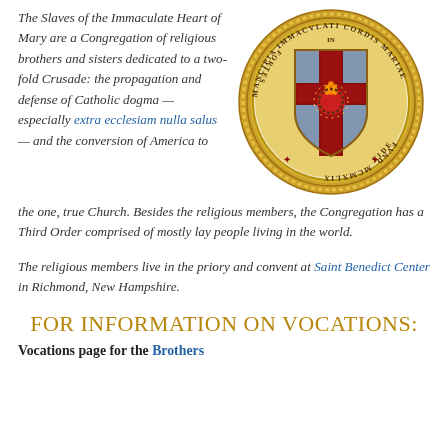The Slaves of the Immaculate Heart of Mary are a Congregation of religious brothers and sisters dedicated to a two-fold Crusade: the propagation and defense of Catholic dogma — especially extra ecclesiam nulla salus — and the conversion of America to the one, true Church. Besides the religious members, the Congregation has a Third Order comprised of mostly lay people living in the world.
[Figure (logo): Circular medallion seal of the Slaves of the Immaculate Heart of Mary. Gold rope border around a circular field. Latin text around the circumference: MANCIPIA IMMACVLATI CORDIS MARIAE FORTES IN FIDE FVND. MCMXLIX. Center shows a blue and red heraldic shield with a flaming sacred heart crowned with thorns, overlaid on a cross. Red asterisk/cross symbols flanking the bottom text.]
The religious members live in the priory and convent at Saint Benedict Center in Richmond, New Hampshire.
FOR INFORMATION ON VOCATIONS:
Vocations page for the Brothers